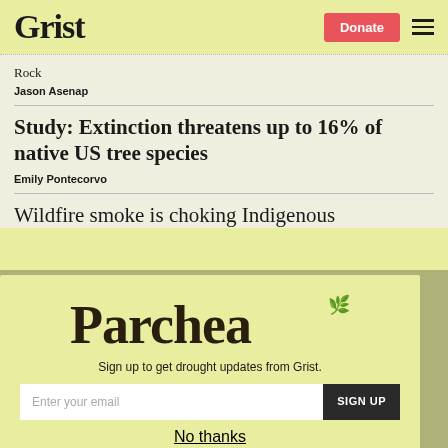Grist | Donate
Rock
Jason Asenap
Study: Extinction threatens up to 16% of native US tree species
Emily Pontecorvo
Wildfire smoke is choking Indigenous
[Figure (screenshot): Parchea newsletter sign-up modal overlay with lime green background, large 'Parchea' logo text with decorative leaf graphic, subtitle 'Sign up to get drought updates from Grist.', email input field, SIGN UP button, and 'No thanks' link.]